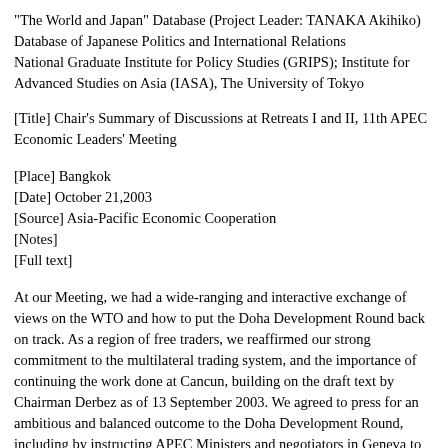"The World and Japan" Database (Project Leader: TANAKA Akihiko)
Database of Japanese Politics and International Relations
National Graduate Institute for Policy Studies (GRIPS); Institute for Advanced Studies on Asia (IASA), The University of Tokyo
[Title] Chair's Summary of Discussions at Retreats I and II, 11th APEC Economic Leaders' Meeting
[Place] Bangkok
[Date] October 21,2003
[Source] Asia-Pacific Economic Cooperation
[Notes]
[Full text]
At our Meeting, we had a wide-ranging and interactive exchange of views on the WTO and how to put the Doha Development Round back on track. As a region of free traders, we reaffirmed our strong commitment to the multilateral trading system, and the importance of continuing the work done at Cancun, building on the draft text by Chairman Derbez as of 13 September 2003. We agreed to press for an ambitious and balanced outcome to the Doha Development Round, including by instructing APEC Ministers and negotiators in Geneva to maintain regular informal consultations to find common ground on issues under negotiation.